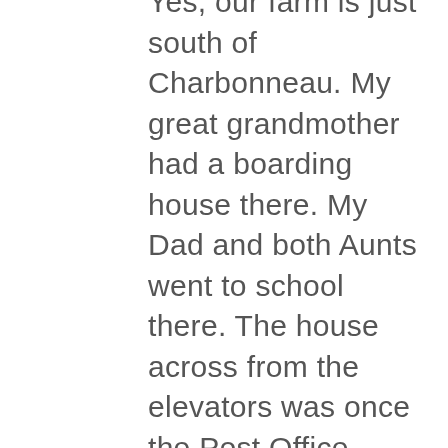Yes, our farm is just south of Charbonneau. My great grandmother had a boarding house there. My Dad and both Aunts went to school there. The house across from the elevators was once the Post Office. When I was young Bill Bell was the Post Master and lived there. Use to ride our bikes to go get the mail. One of my favorite stories Daddy told us from he was young there was a town cat and when it died the Methodist